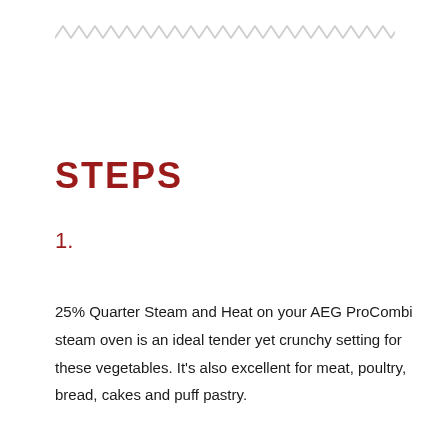[Figure (illustration): Zigzag/wavy decorative line across top of page]
STEPS
1.
25% Quarter Steam and Heat on your AEG ProCombi steam oven is an ideal tender yet crunchy setting for these vegetables. It's also excellent for meat, poultry, bread, cakes and puff pastry.